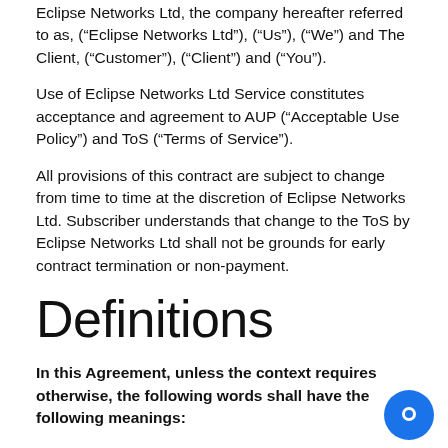Eclipse Networks Ltd, the company hereafter referred to as, (“Eclipse Networks Ltd”), (“Us”), (“We”) and The Client, (“Customer”), (“Client”) and (“You”).
Use of Eclipse Networks Ltd Service constitutes acceptance and agreement to AUP (“Acceptable Use Policy”) and ToS (“Terms of Service”).
All provisions of this contract are subject to change from time to time at the discretion of Eclipse Networks Ltd. Subscriber understands that change to the ToS by Eclipse Networks Ltd shall not be grounds for early contract termination or non-payment.
Definitions
In this Agreement, unless the context requires otherwise, the following words shall have the following meanings: